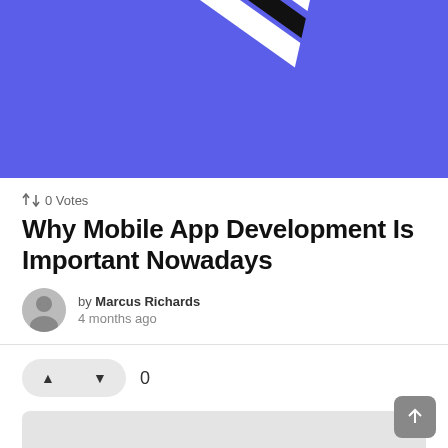[Figure (illustration): Blue banner image with diagonal white and black stripes across a blue background]
↕ 0 Votes
Why Mobile App Development Is Important Nowadays
by Marcus Richards
4 months ago
[Figure (other): Vote up and vote down buttons with count 0]
[Figure (other): Gray advertisement area placeholder]